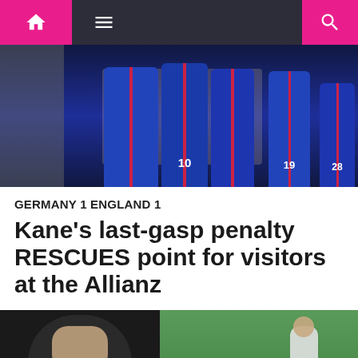Navigation bar with home, menu, and search icons
[Figure (photo): England football players in blue shirts with red stripes standing on pitch, numbers 10, 19, 28 visible, match action in background]
GERMANY 1 ENGLAND 1
Kane's last-gasp penalty RESCUES point for visitors at the Allianz
[Figure (photo): Left: footballer applauding with hands raised, dark background. Right: footballer in white kit on green pitch.]